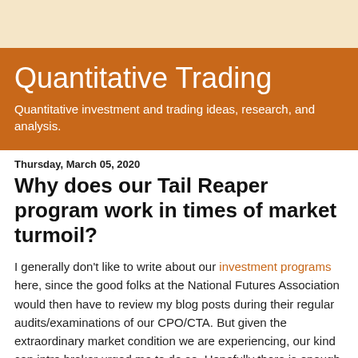Quantitative Trading
Quantitative investment and trading ideas, research, and analysis.
Thursday, March 05, 2020
Why does our Tail Reaper program work in times of market turmoil?
I generally don't like to write about our investment programs here, since the good folks at the National Futures Association would then have to review my blog posts during their regular audits/examinations of our CPO/CTA. But given the extraordinary market condition we are experiencing, our kind cap intro broker urged me to do so. Hopefully there is enough financial insights here to benefit those who do not wish to invest with us.